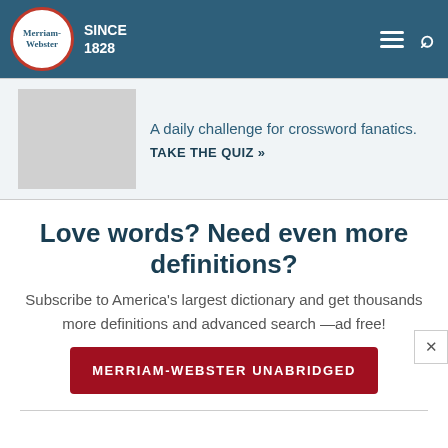Merriam-Webster SINCE 1828
[Figure (screenshot): Quiz promotional banner with gray image placeholder, text 'A daily challenge for crossword fanatics.' and link 'TAKE THE QUIZ >>']
A daily challenge for crossword fanatics.
TAKE THE QUIZ >>
Love words? Need even more definitions?
Subscribe to America's largest dictionary and get thousands more definitions and advanced search—ad free!
MERRIAM-WEBSTER UNABRIDGED